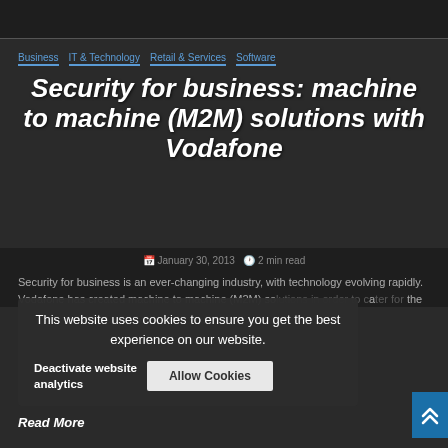Business  IT & Technology  Retail & Services  Software
Security for business: machine to machine (M2M) solutions with Vodafone
January 30, 2013  2 min read
Security for business is an ever-changing industry, with technology evolving rapidly. Vodafone has created machine to machine (M2M) solutions in order to cater for the
This website uses cookies to ensure you get the best experience on our website.
Deactivate website analytics
Allow Cookies
Read More